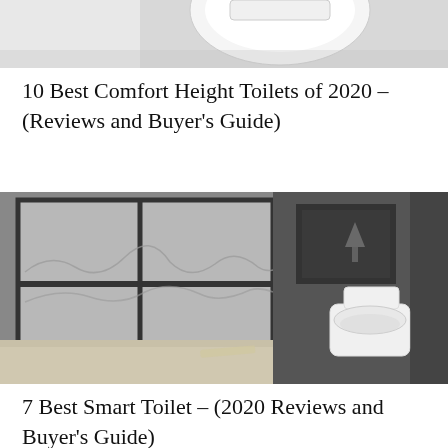[Figure (photo): Top portion of a white toilet bowl against a light background, cropped at the top of the page]
10 Best Comfort Height Toilets of 2020 – (Reviews and Buyer's Guide)
[Figure (photo): Black and white photo of a modern bathroom with large floor-to-ceiling windows overlooking a city skyline, with a white toilet visible on the right side against a dark tiled wall]
7 Best Smart Toilet – (2020 Reviews and Buyer's Guide)